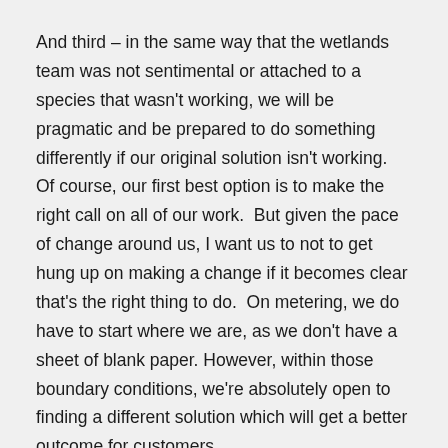And third – in the same way that the wetlands team was not sentimental or attached to a species that wasn't working, we will be pragmatic and be prepared to do something differently if our original solution isn't working.  Of course, our first best option is to make the right call on all of our work.  But given the pace of change around us, I want us to not to get hung up on making a change if it becomes clear that's the right thing to do.  On metering, we do have to start where we are, as we don't have a sheet of blank paper.  However, within those boundary conditions, we're absolutely open to finding a different solution which will get a better outcome for customers.
You can expect that we'll be applying this type of pragmatism to all of our future work as we sharpen our primary focus to that work that delivers the best outcomes for customers.
Collaboration